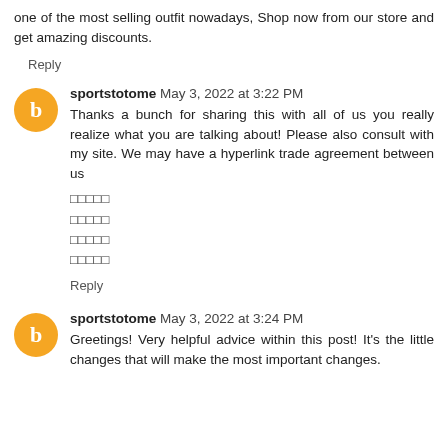one of the most selling outfit nowadays, Shop now from our store and get amazing discounts.
Reply
sportstotome May 3, 2022 at 3:22 PM
Thanks a bunch for sharing this with all of us you really realize what you are talking about! Please also consult with my site. We may have a hyperlink trade agreement between us
□□□□□
□□□□□
□□□□□
□□□□□
Reply
sportstotome May 3, 2022 at 3:24 PM
Greetings! Very helpful advice within this post! It's the little changes that will make the most important changes.